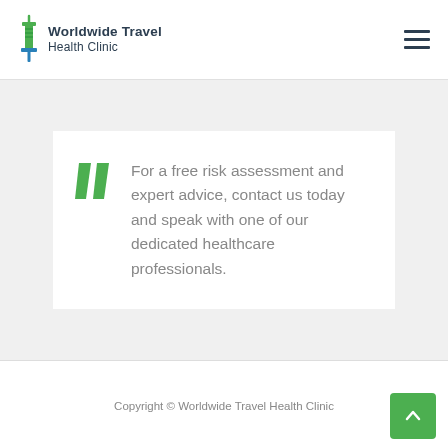Worldwide Travel Health Clinic
For a free risk assessment and expert advice, contact us today and speak with one of our dedicated healthcare professionals.
Copyright © Worldwide Travel Health Clinic